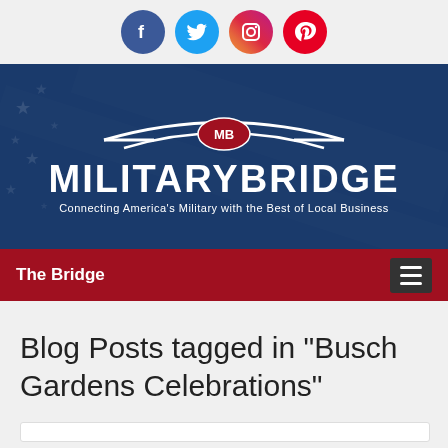[Figure (logo): Social media icons: Facebook (blue circle with f), Twitter (light blue circle with bird), Instagram (gradient circle with camera), Pinterest (red circle with P)]
[Figure (logo): MilitaryBridge banner with dark blue patriotic background featuring stars and stripes pattern. White arch/bridge graphic lines above red oval 'MB' badge. Large white bold text 'MILITARYBRIDGE' and subtitle 'Connecting America's Military with the Best of Local Business']
The Bridge
Blog Posts tagged in "Busch Gardens Celebrations"